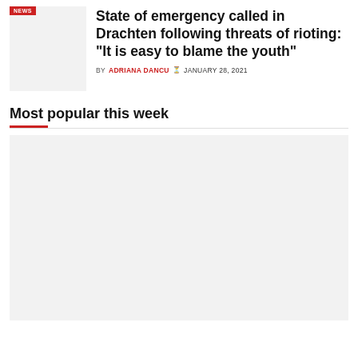[Figure (photo): Thumbnail image placeholder with NEWS badge]
State of emergency called in Drachten following threats of rioting: “It is easy to blame the youth”
BY ADRIANA DANCU ⏰ JANUARY 28, 2021
Most popular this week
[Figure (photo): Large image placeholder for most popular article]